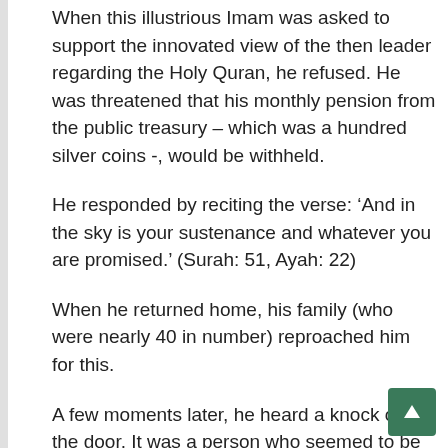When this illustrious Imam was asked to support the innovated view of the then leader regarding the Holy Quran, he refused. He was threatened that his monthly pension from the public treasury – which was a hundred silver coins -, would be withheld.
He responded by reciting the verse: 'And in the sky is your sustenance and whatever you are promised.' (Surah: 51, Ayah: 22)
When he returned home, his family (who were nearly 40 in number) reproached him for this.
A few moments later, he heard a knock on the door. It was a person who seemed to be a hard labourer that had come to hand him a bag of one hundred silver coins saying: 'O Abu 'Uthman! May